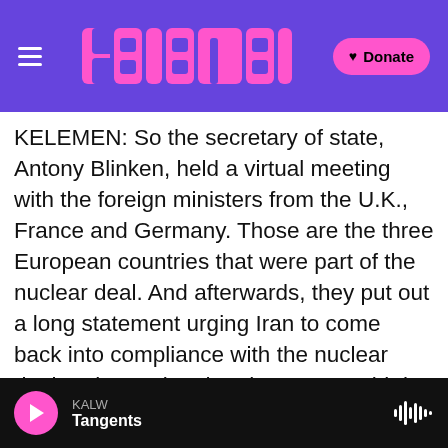NPR / Kelemen radio transcript page with logo and Donate button
KELEMEN: So the secretary of state, Antony Blinken, held a virtual meeting with the foreign ministers from the U.K., France and Germany. Those are the three European countries that were part of the nuclear deal. And afterwards, they put out a long statement urging Iran to come back into compliance with the nuclear deal and restating that the U.S. would do the same. Now, the problem's always been kind of, who takes the first step? The European Union, which oversees the nuclear deal, announced later that, hey, the EU will host a meeting. The State Department said it would take up that offer. We don't know where or when such a
KALW | Tangents